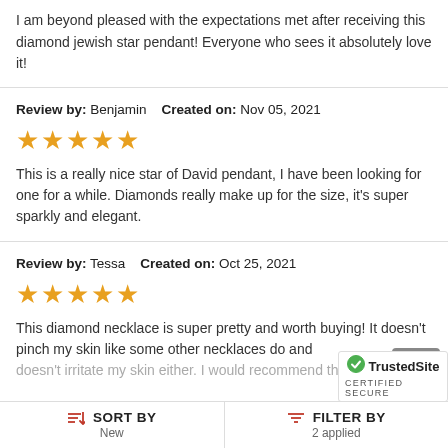I am beyond pleased with the expectations met after receiving this diamond jewish star pendant! Everyone who sees it absolutely love it!
Review by: Benjamin   Created on: Nov 05, 2021
[Figure (other): 5 gold stars rating]
This is a really nice star of David pendant, I have been looking for one for a while. Diamonds really make up for the size, it's super sparkly and elegant.
Review by: Tessa   Created on: Oct 25, 2021
[Figure (other): 5 gold stars rating]
This diamond necklace is super pretty and worth buying! It doesn't pinch my skin like some other necklaces do and doesn't irritate my skin either. I would recommend thi
SORT BY New   FILTER BY 2 applied